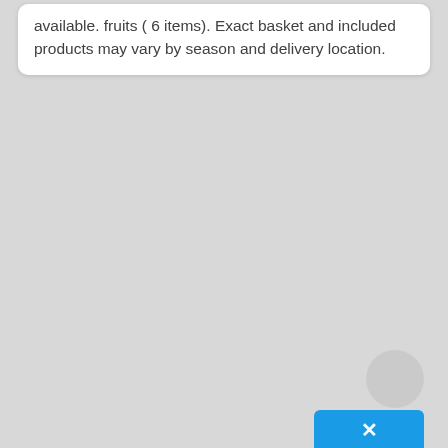available. fruits ( 6 items). Exact basket and included products may vary by season and delivery location.